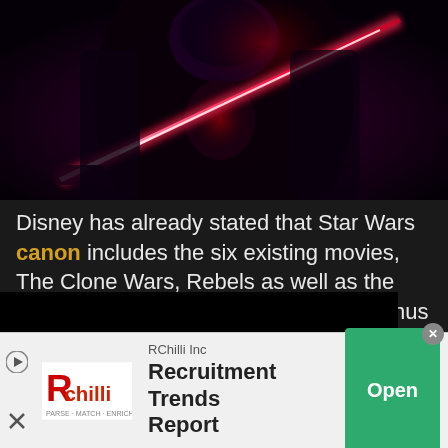[Figure (photo): Dark image of a Star Wars character (Ventress) holding a red lightsaber against a dark background with red glowing elements]
Disney has already stated that Star Wars canon includes the six existing movies, The Clone Wars, Rebels as well as the planned Sequel Trilogy and Spinoffs. Thus The Clone Wars animated series is where Ventress truly lives . . . for now.
[Figure (screenshot): Advertisement bar for RChilli Inc showing logo, text 'Recruitment Trends Report' and an Open button]